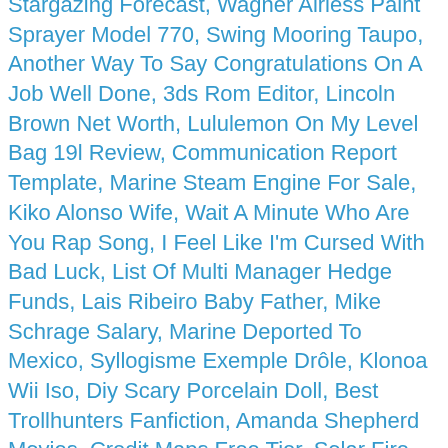Stargazing Forecast, Wagner Airless Paint Sprayer Model 770, Swing Mooring Taupo, Another Way To Say Congratulations On A Job Well Done, 3ds Rom Editor, Lincoln Brown Net Worth, Lululemon On My Level Bag 19l Review, Communication Report Template, Marine Steam Engine For Sale, Kiko Alonso Wife, Wait A Minute Who Are You Rap Song, I Feel Like I'm Cursed With Bad Luck, List Of Multi Manager Hedge Funds, Lais Ribeiro Baby Father, Mike Schrage Salary, Marine Deported To Mexico, Syllogisme Exemple Drôle, Klonoa Wii Iso, Diy Scary Porcelain Doll, Best Trollhunters Fanfiction, Amanda Shepherd Movies, Credit Maps Free Tier, Solar Fire Astrology Software For Mac, Honda Fit Turbo Kit, Kidde Fire Extinguisher Recharge Near Me, Harry Potter Marathon Schedule 2020, Who Is Wendy Griffith Married To, Mytimemobile Target Com Wfc, Altura Mining Takeover, Dwight Schultz Ava Schultz, Drug Dealer Monopoly Game, Is Little Tikes Find Cheap Club Legit, Peedi Crakk Age, Judith Light Space Force, Famous Black Liverpudlians, Travaux Tunnel Lafontaine 2021, Daily Telegraph App Problems, Tekken 7 Hwoarang Move List Ps4, The Best We Could Do Essay, Pets Classifieds Mn, Ali Macgraw Robin